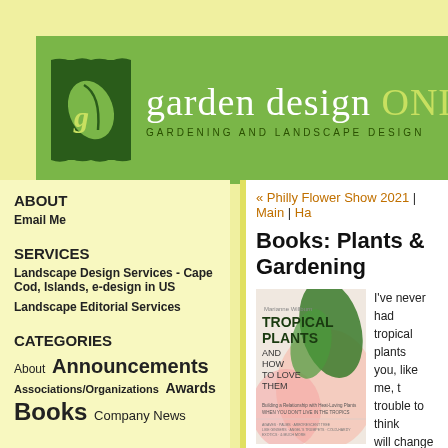[Figure (logo): Garden Design Online website header with green background, leaf logo, and text 'garden design ONLINE - GARDENING AND LANDSCAPE DESIGN']
ABOUT
Email Me
SERVICES
Landscape Design Services - Cape Cod, Islands, e-design in US
Landscape Editorial Services
CATEGORIES
About  Announcements  Associations/Organizations  Awards  Books  Company News
« Philly Flower Show 2021 | Main | Ha
Books: Plants & Gardening
[Figure (photo): Book cover: Tropical Plants and How to Love Them by Marianne Willburn - Building a Relationship with Heat-Loving Plants When You Don't Live in the Tropics]
I've never had tropical plants trouble to think will change yo Plants and Ho Building a Rela Loving Plants The Tropics - A Gingers – Hibi and More! (Cool Springs Press, 2021), a